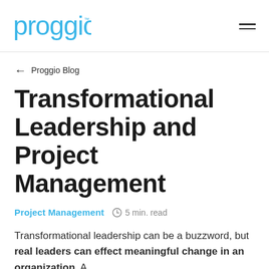proggio
← Proggio Blog
Transformational Leadership and Project Management
Project Management  ⏱ 5 min. read
Transformational leadership can be a buzzword, but real leaders can effect meaningful change in an organization. A